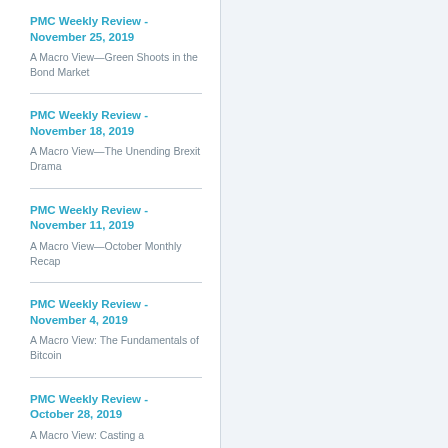PMC Weekly Review - November 25, 2019
A Macro View—Green Shoots in the Bond Market
PMC Weekly Review - November 18, 2019
A Macro View—The Unending Brexit Drama
PMC Weekly Review - November 11, 2019
A Macro View—October Monthly Recap
PMC Weekly Review - November 4, 2019
A Macro View: The Fundamentals of Bitcoin
PMC Weekly Review - October 28, 2019
A Macro View: Casting a